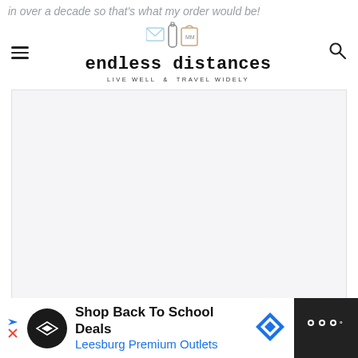in over a decade so that's what my order would be!
[Figure (logo): Endless Distances blog logo with illustrated travel icons (envelope, bottle, bag), title 'endless distances' in handwritten font, subtitle 'LIVE WELL & TRAVEL WIDELY']
[Figure (photo): Large white/light gray empty content area placeholder]
[Figure (screenshot): Advertisement banner: 'Shop Back To School Deals' for Leesburg Premium Outlets, dark background with white and blue text, circular icon with diamond shape logo, navigation arrow icon]